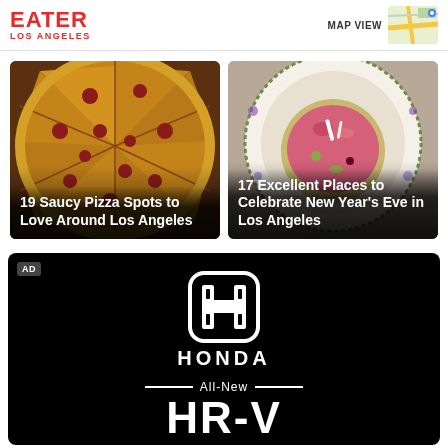EATER LOS ANGELES
MAP VIEW
[Figure (photo): Pepperoni pizza slices in a box, overhead view, with text overlay: 19 Saucy Pizza Spots to Love Around Los Angeles]
[Figure (photo): Elegant plated dish with watermelon and garnishes on a floral plate, with text overlay: 17 Excellent Places to Celebrate New Year's Eve in Los Angeles]
[Figure (logo): Honda advertisement on black background showing Honda H logo, HONDA text, All-New line with decorative bars, and HR-V large text]